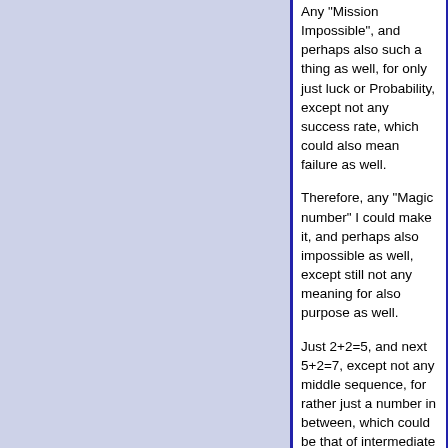Any "Mission Impossible", and perhaps also such a thing as well, for only just luck or Probability, except not any success rate, which could also mean failure as well.
Therefore, any "Magic number" I could make it, and perhaps also impossible as well, except still not any meaning for also purpose as well.
Just 2+2=5, and next 5+2=7, except not any middle sequence, for rather just a number in between, which could be that of intermediate for such.
For that, (7+5)/2, making it 6 of course, for only just 2*3, except still perhaps only just lying a bit.
Could you next rather assume 5 instead, for not any 5.5, or should I rather round off instead, for still making it just 6?
Here not having the details, but if you could make it a C201 for just above, it should not divide either, but still be a factor in some way or another.
Again, not knowing whether I did that, or possibly so, but here needs checking, for only being off right now.